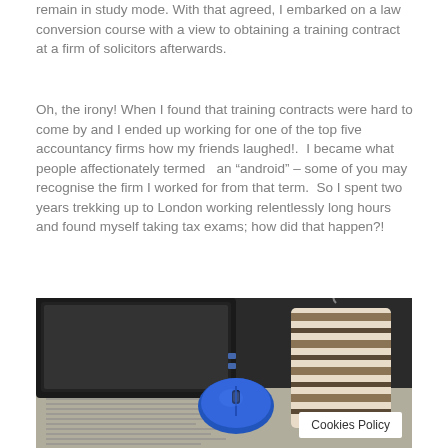remain in study mode. With that agreed, I embarked on a law conversion course with a view to obtaining a training contract at a firm of solicitors afterwards.
Oh, the irony! When I found that training contracts were hard to come by and I ended up working for one of the top five accountancy firms how my friends laughed!.  I became what people affectionately termed  an “android” – some of you may recognise the firm I worked for from that term.  So I spent two years trekking up to London working relentlessly long hours and found myself taking tax exams; how did that happen?!
[Figure (photo): Photo of a laptop, blue wireless mouse, striped coffee mug, and papers/documents on a desk, suggesting an office or study work environment.]
Cookies Policy